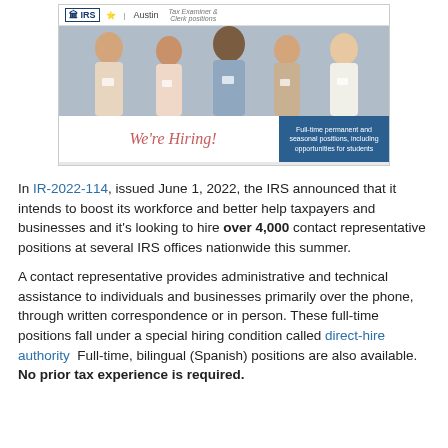[Figure (photo): IRS We're Hiring promotional image showing a group of five employees smiling, with IRS logo, Austin location, Tax Examiner & Clerk positions text, and 'We're Hiring!' text with blue overlay mentioning full-time permanent and seasonal positions including opportunities for students.]
In IR-2022-114, issued June 1, 2022, the IRS announced that it intends to boost its workforce and better help taxpayers and businesses and it's looking to hire over 4,000 contact representative positions at several IRS offices nationwide this summer.
A contact representative provides administrative and technical assistance to individuals and businesses primarily over the phone, through written correspondence or in person. These full-time positions fall under a special hiring condition called direct-hire authority  Full-time, bilingual (Spanish) positions are also available. No prior tax experience is required.